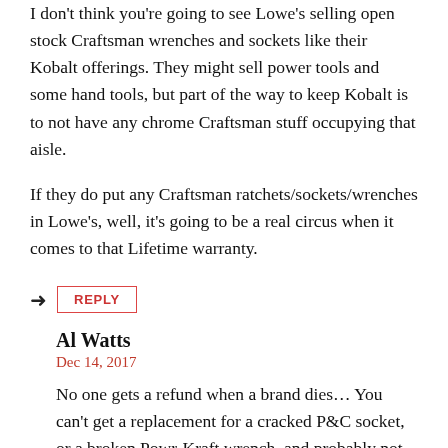I don't think you're going to see Lowe's selling open stock Craftsman wrenches and sockets like their Kobalt offerings. They might sell power tools and some hand tools, but part of the way to keep Kobalt is to not have any chrome Craftsman stuff occupying that aisle.
If they do put any Craftsman ratchets/sockets/wrenches in Lowe's, well, it's going to be a real circus when it comes to that Lifetime warranty.
REPLY
Al Watts
Dec 14, 2017
No one gets a refund when a brand dies… You can't get a replacement for a cracked P&C socket, or a broken Powr-Kraft wrench, and probably not for a stripped KMart Power ratchet.